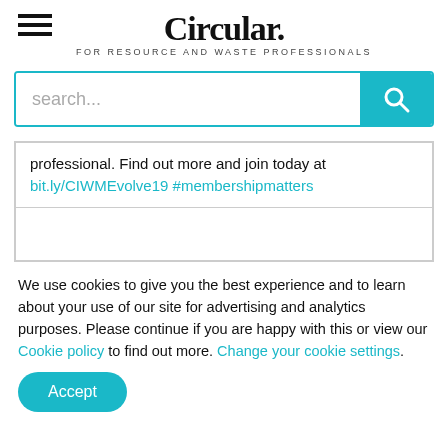Circular. FOR RESOURCE AND WASTE PROFESSIONALS
professional. Find out more and join today at bit.ly/CIWMEvolve19 #membershipmatters
We use cookies to give you the best experience and to learn about your use of our site for advertising and analytics purposes. Please continue if you are happy with this or view our Cookie policy to find out more. Change your cookie settings.
Accept